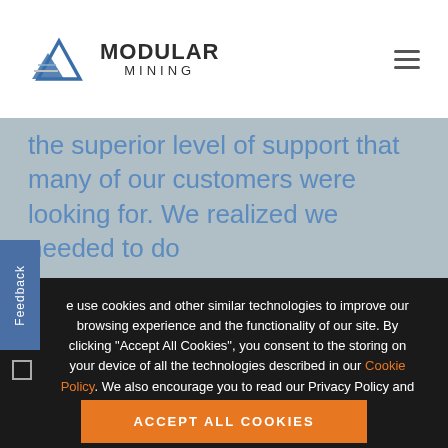Modular Mining
the superior level of support that many of our customers were looking for. We realized we needed to do
We use cookies and other similar technologies to improve our browsing experience and the functionality of our site. By clicking "Accept All Cookies", you consent to the storing on your device of all the technologies described in our Cookie Policy. We also encourage you to read our Privacy Policy and Terms of Use (both available on our Legal page), to better understand how we maintain our site, and how we may collect and use visitor data.
ACCEPT ALL COOKIES